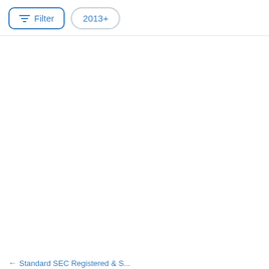[Figure (screenshot): UI toolbar with a Filter button (blue border, blue text, filter icon) and a 2013+ pill button (gray border, blue text), followed by a horizontal divider line and a mostly blank white content area, with partial blue text visible at the bottom left.]